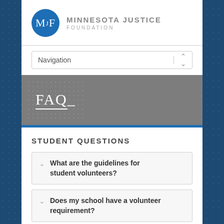[Figure (logo): Minnesota Justice Foundation logo: blue circle with MJF letters, organization name to the right]
[Figure (screenshot): Navigation dropdown selector]
FAQ
STUDENT QUESTIONS
What are the guidelines for student volunteers?
Does my school have a volunteer requirement?